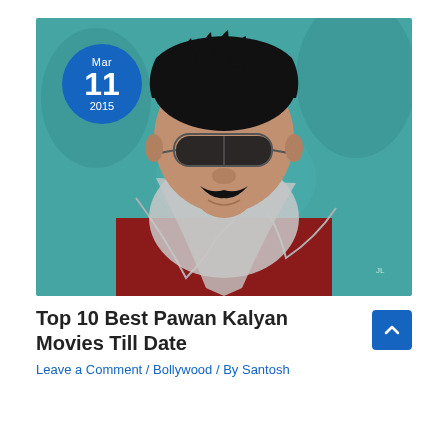[Figure (photo): Photo of Pawan Kalyan wearing sunglasses and a dark red t-shirt with a grey scarf, against a teal/green background. A blue circular date badge overlays the top-left corner showing Mar 11 2015.]
Top 10 Best Pawan Kalyan Movies Till Date
Leave a Comment / Bollywood / By Santosh